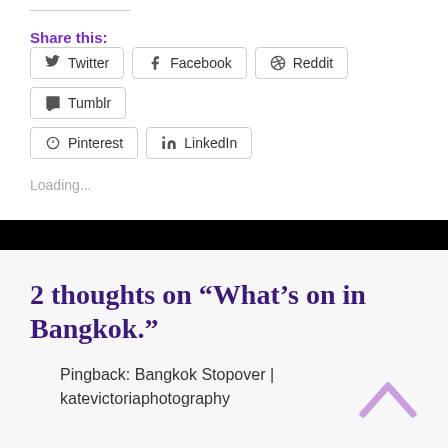Share this:
Twitter  Facebook  Reddit  Tumblr  Pinterest  LinkedIn
Loading...
2 thoughts on “What’s on in Bangkok.”
Pingback: Bangkok Stopover | katevictoriaphotography